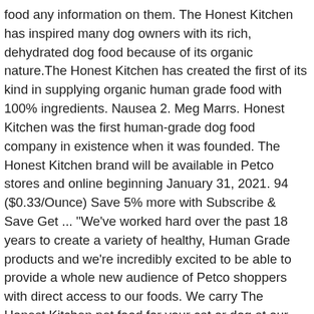food any information on them. The Honest Kitchen has inspired many dog owners with its rich, dehydrated dog food because of its organic nature.The Honest Kitchen has created the first of its kind in supplying organic human grade food with 100% ingredients. Nausea 2. Meg Marrs. Honest Kitchen was the first human-grade dog food company in existence when it was founded. The Honest Kitchen brand will be available in Petco stores and online beginning January 31, 2021. 94 ($0.33/Ounce) Save 5% more with Subscribe & Save Get ... "We've worked hard over the past 18 years to create a variety of healthy, Human Grade products and we're incredibly excited to be able to provide a whole new audience of Petco shoppers with direct access to our foods. We carry The Honest Kitchen pet food for your cat or dog at our local store in Fort Lauderdale, Florida. Its chefs take pride in their all-natural, human-grade dog and cat food. Honest kitchen dog food is 100% human-grade dog food. I bought Honest Kitchen for my dog...it comes out like oatmeal, a consistency my chihuahua didnt like. We operate more than